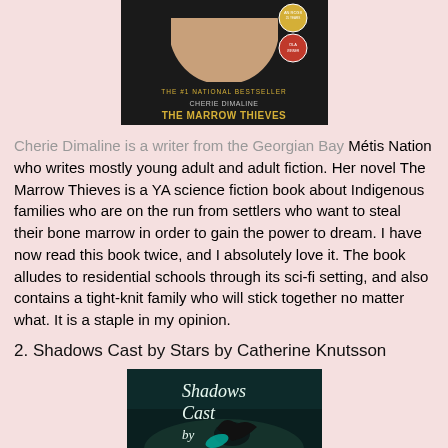[Figure (photo): Book cover of The Marrow Thieves by Cherie Dimaline, showing a person's face looking down, with award badges and text 'THE #1 NATIONAL BESTSELLER CHERIE DIMALINE THE MARROW THIEVES' on a dark background]
Cherie Dimaline is a writer from the Georgian Bay Métis Nation who writes mostly young adult and adult fiction. Her novel The Marrow Thieves is a YA science fiction book about Indigenous families who are on the run from settlers who want to steal their bone marrow in order to gain the power to dream. I have now read this book twice, and I absolutely love it. The book alludes to residential schools through its sci-fi setting, and also contains a tight-knit family who will stick together no matter what. It is a staple in my opinion.
2. Shadows Cast by Stars by Catherine Knutsson
[Figure (photo): Book cover of Shadows Cast by Stars, showing the title in stylized text with a bird and misty forest background in teal/dark tones]